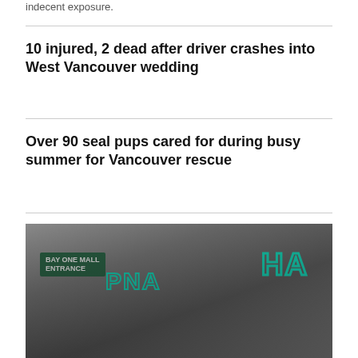indecent exposure.
10 injured, 2 dead after driver crashes into West Vancouver wedding
Over 90 seal pups cared for during busy summer for Vancouver rescue
EDMONTON >
[Figure (photo): Street-level photo of a storefront with green signage with teal/cyan lettering, appears to be a mall or commercial area in Edmonton.]